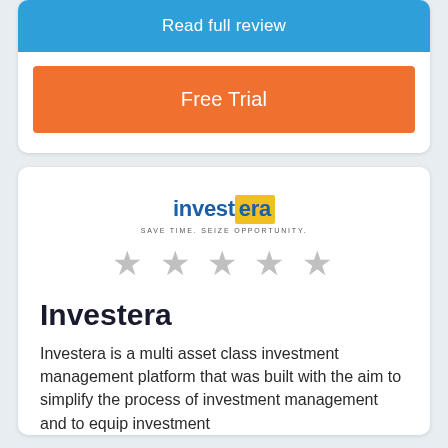[Figure (other): Blue button labeled 'Read full review']
[Figure (other): Orange button labeled 'Free Trial']
[Figure (logo): Investera logo: 'invest' in blue bold, 'era' in blue on yellow background, tagline 'SAVE TIME. SEIZE OPPORTUNITY.']
[Figure (other): Five empty grey star rating icons]
Investera
Investera is a multi asset class investment management platform that was built with the aim to simplify the process of investment management and to equip investment